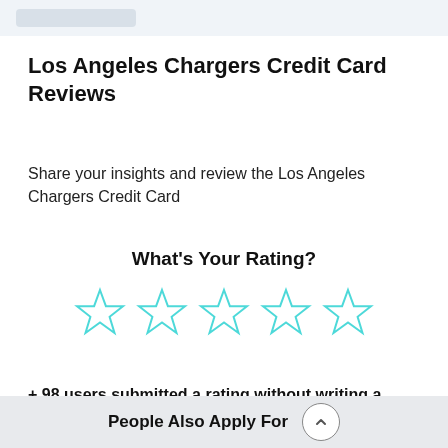Los Angeles Chargers Credit Card Reviews
Share your insights and review the Los Angeles Chargers Credit Card
What's Your Rating?
[Figure (other): Five empty star rating icons in teal/cyan outline style]
+ 98 users submitted a rating without writing a
People Also Apply For